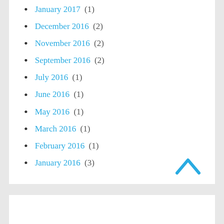January 2017 (1)
December 2016 (2)
November 2016 (2)
September 2016 (2)
July 2016 (1)
June 2016 (1)
May 2016 (1)
March 2016 (1)
February 2016 (1)
January 2016 (3)